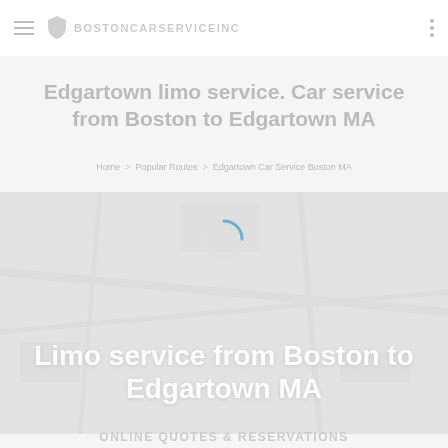BOSTONCARSERVICEINC
Edgartown limo service. Car service from Boston to Edgartown MA
Home > Popular Routes > Edgartown Car Service Boston MA
[Figure (screenshot): Hero banner with loading spinner and bold white text reading 'Limo service from Boston to Edgartown MA' over a light grey background]
ONLINE QUOTES & RESERVATIONS